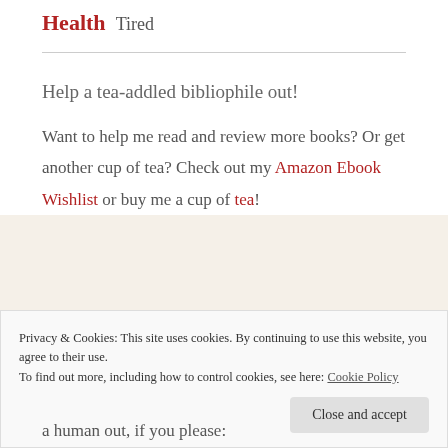Health Tired
Help a tea-addled bibliophile out!
Want to help me read and review more books? Or get another cup of tea? Check out my Amazon Ebook Wishlist or buy me a cup of tea!
Privacy & Cookies: This site uses cookies. By continuing to use this website, you agree to their use.
To find out more, including how to control cookies, see here: Cookie Policy
a human out, if you please: